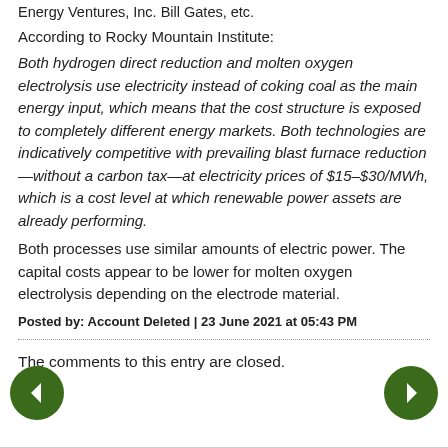Energy Ventures, Inc. Bill Gates, etc.
According to Rocky Mountain Institute:
Both hydrogen direct reduction and molten oxygen electrolysis use electricity instead of coking coal as the main energy input, which means that the cost structure is exposed to completely different energy markets. Both technologies are indicatively competitive with prevailing blast furnace reduction—without a carbon tax—at electricity prices of $15–$30/MWh, which is a cost level at which renewable power assets are already performing.
Both processes use similar amounts of electric power. The capital costs appear to be lower for molten oxygen electrolysis depending on the electrode material.
Posted by: Account Deleted | 23 June 2021 at 05:43 PM
The comments to this entry are closed.